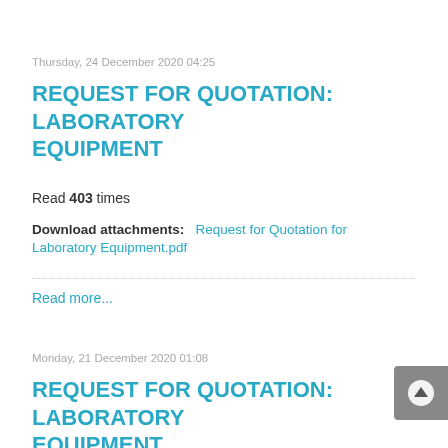Thursday, 24 December 2020 04:25
REQUEST FOR QUOTATION: LABORATORY EQUIPMENT
Read 403 times
Download attachments:  Request for Quotation for Laboratory Equipment.pdf
Read more...
Monday, 21 December 2020 01:08
REQUEST FOR QUOTATION: LABORATORY EQUIPMENT